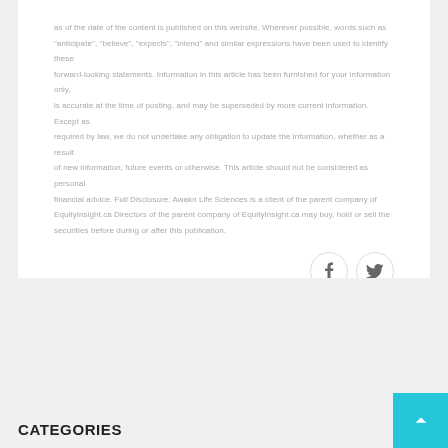as of the date of the content is published on this website. Wherever possible, words such as "anticipate", "believe", "expects", "intend" and similar expressions have been used to identify these forward-looking statements. Information in this article has been furnished for your information only, is accurate at the time of posting, and may be superseded by more current information. Except as required by law, we do not undertake any obligation to update the information, whether as a result of new information, future events or otherwise. This article should not be considered as personal financial advice. Full Disclosure: Awakn Life Sciences is a client of the parent company of EquityInsight.ca Directors of the parent company of EquityInsight.ca may buy, hold or sell the securities before during or after this publication.
[Figure (other): Two circular social media sharing buttons: Facebook (f) and Twitter (bird icon)]
CATEGORIES